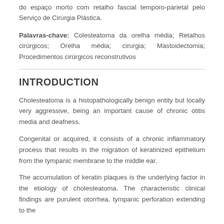do espaço morto com retalho fascial temporo-parietal pelo Serviço de Cirurgia Plástica.
Palavras-chave: Colesteatoma da orelha média; Retalhos cirúrgicos; Orelha média; cirurgia; Mastoidectomia; Procedimentos cirúrgicos reconstrutivos
INTRODUCTION
Cholesteatoma is a histopathologically benign entity but locally very aggressive, being an important cause of chronic otitis media and deafness.
Congenital or acquired, it consists of a chronic inflammatory process that results in the migration of keratinized epithelium from the tympanic membrane to the middle ear.
The accumulation of keratin plaques is the underlying factor in the etiology of cholesteatoma. The characteristic clinical findings are purulent otorrhea, tympanic perforation extending to the